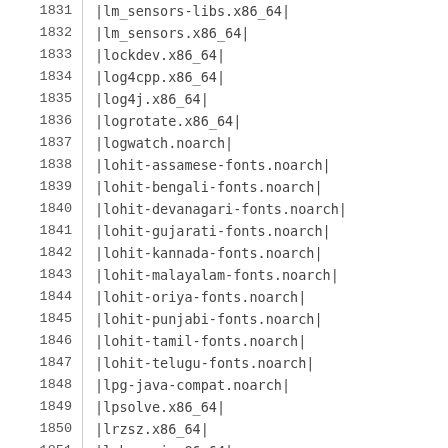| # | Package |
| --- | --- |
| 1831 | |lm_sensors-libs.x86_64| |
| 1832 | |lm_sensors.x86_64| |
| 1833 | |lockdev.x86_64| |
| 1834 | |log4cpp.x86_64| |
| 1835 | |log4j.x86_64| |
| 1836 | |logrotate.x86_64| |
| 1837 | |logwatch.noarch| |
| 1838 | |lohit-assamese-fonts.noarch| |
| 1839 | |lohit-bengali-fonts.noarch| |
| 1840 | |lohit-devanagari-fonts.noarch| |
| 1841 | |lohit-gujarati-fonts.noarch| |
| 1842 | |lohit-kannada-fonts.noarch| |
| 1843 | |lohit-malayalam-fonts.noarch| |
| 1844 | |lohit-oriya-fonts.noarch| |
| 1845 | |lohit-punjabi-fonts.noarch| |
| 1846 | |lohit-tamil-fonts.noarch| |
| 1847 | |lohit-telugu-fonts.noarch| |
| 1848 | |lpg-java-compat.noarch| |
| 1849 | |lpsolve.x86_64| |
| 1850 | |lrzsz.x86_64| |
| 1851 | |lshw-gui.x86_64| |
| 1852 | |lshw.x86_64| |
| 1853 | |lslk.x86_64| |
| 1854 | |lsof.x86_64| |
| 1855 | |lssasi.x86_64| |